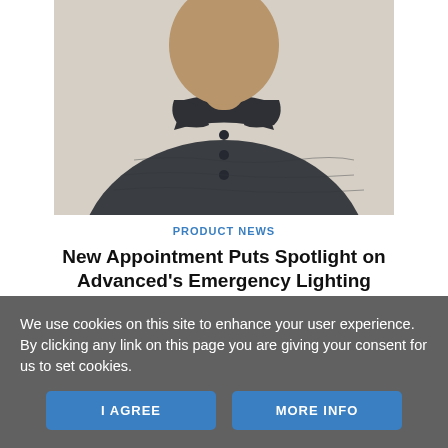[Figure (photo): Photo of a person wearing a dark gray polo shirt, cropped to show torso and lower face/neck area, against a light beige background.]
PRODUCT NEWS
New Appointment Puts Spotlight on Advanced's Emergency Lighting
Global fire and life safety systems manufacturer, Advanced, has appointed Hanif Ghodawala as new business development manager for its emergency lighting division.
We use cookies on this site to enhance your user experience.
By clicking any link on this page you are giving your consent for us to set cookies.